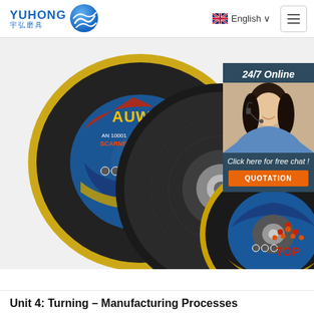[Figure (logo): Yuhong logo with Chinese characters 宇弘磨具 and blue wave/globe icon]
English ∨
[Figure (photo): Multiple abrasive grinding and cutting discs (AUWELD brand) arranged overlapping, showing blue, black and gold colored grinding wheels]
[Figure (infographic): 24/7 Online chat widget with photo of a woman wearing a headset, text 'Click here for free chat!' and orange QUOTATION button]
[Figure (infographic): Red and orange TOP button with upward dots/arrow icon]
Unit 4: Turning – Manufacturing Processes